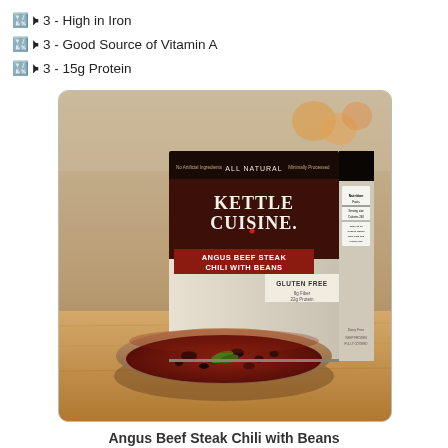🔣 - High in Iron
🔣 - Good Source of Vitamin A
🔣 - 15g Protein
[Figure (photo): Product photo of Kettle Cuisine Angus Beef Steak Chili with Beans box, showing the box packaging with branding, a bowl of chili in the foreground, kitchen background with blurred oranges.]
Angus Beef Steak Chili with Beans